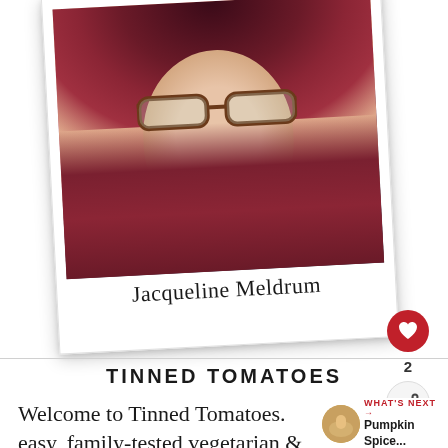[Figure (photo): Polaroid-style photo of Jacqueline Meldrum, a woman with red hair and brown glasses, slight smile, with the name 'Jacqueline Meldrum' written below in the polaroid border]
2
TINNED TOMATOES
Welcome to Tinned Tomatoes. easy, family-tested vegetarian & vegan
WHAT'S NEXT → Pumpkin Spice...